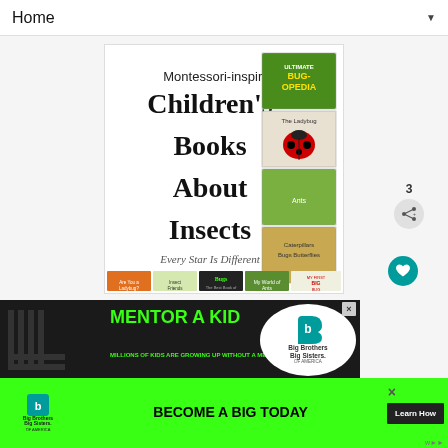Home ▼
[Figure (illustration): Montessori-inspired Children's Books About Insects - composite image with book covers including Bug-opedia, The Ladybug, ants book, Caterpillars Bugs Butterflies, and a row of 5 book covers along the bottom. Text reads 'Every Star Is Different'.]
[Figure (infographic): Big Brothers Big Sisters of America advertisement. Top banner: dark background with green neon text 'MENTOR A KID' and BBBS logo. Bottom banner: green background with text 'MILLIONS OF KIDS ARE GROWING UP WITHOUT A MENTOR. BECOME A BIG TODAY' and 'Learn How' button.]